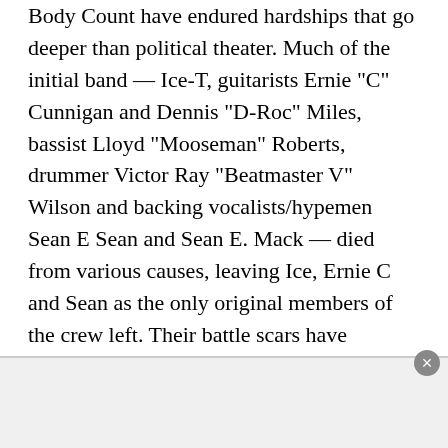Body Count have endured hardships that go deeper than political theater. Much of the initial band — Ice-T, guitarists Ernie "C" Cunnigan and Dennis "D-Roc" Miles, bassist Lloyd "Mooseman" Roberts, drummer Victor Ray "Beatmaster V" Wilson and backing vocalists/hypemen Sean E Sean and Sean E. Mack — died from various causes, leaving Ice, Ernie C and Sean as the only original members of the crew left. Their battle scars have embedded the group with a sterling reputation. No longer just a rapper and his friends taking a rock & roll holiday, they're a true metal act that paid dues and survived long